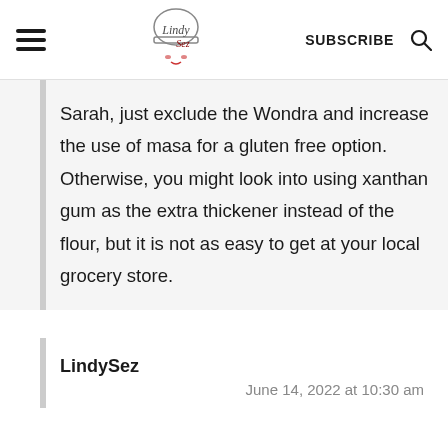LindySez — SUBSCRIBE (search icon)
Sarah, just exclude the Wondra and increase the use of masa for a gluten free option. Otherwise, you might look into using xanthan gum as the extra thickener instead of the flour, but it is not as easy to get at your local grocery store.
LindySez
June 14, 2022 at 10:30 am